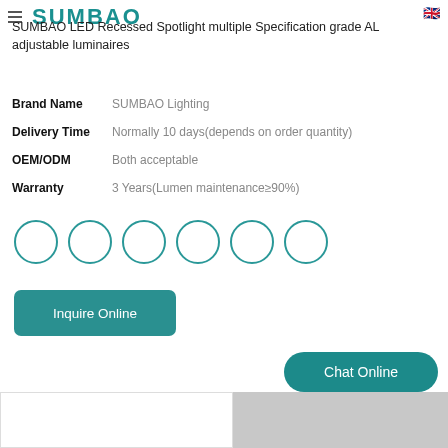SUMBAO LED Recessed Spotlight multiple Specification grade AL adjustable luminaires
SUMBAO LED Recessed Spotlight multiple Specification grade AL adjustable luminaires
| Property | Value |
| --- | --- |
| Brand Name | SUMBAO Lighting |
| Delivery Time | Normally 10 days(depends on order quantity) |
| OEM/ODM | Both acceptable |
| Warranty | 3 Years(Lumen maintenance≥90%) |
[Figure (other): Six circular color/variant selector circles arranged in a row]
Inquire Online
Chat Online